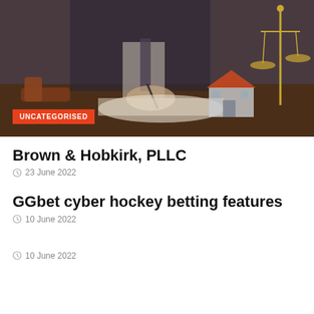[Figure (photo): A lawyer or legal professional in a suit signing documents at a desk with a gavel, scales of justice, and a miniature house model visible]
UNCATEGORISED
Brown & Hobkirk, PLLC
23 June 2022
GGbet cyber hockey betting features
10 June 2022
10 June 2022